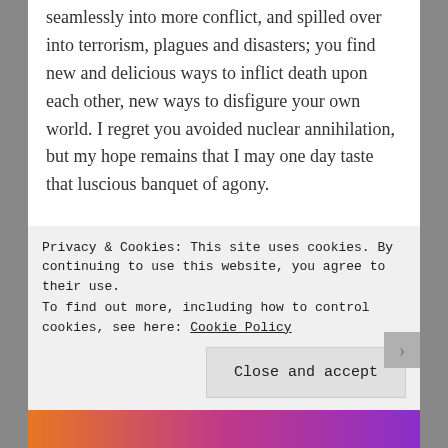seamlessly into more conflict, and spilled over into terrorism, plagues and disasters; you find new and delicious ways to inflict death upon each other, new ways to disfigure your own world. I regret you avoided nuclear annihilation, but my hope remains that I may one day taste that luscious banquet of agony.
You are rich in pain and decimation, and I thank you.
You give me continued life, your discordant
Privacy & Cookies: This site uses cookies. By continuing to use this website, you agree to their use.
To find out more, including how to control cookies, see here: Cookie Policy
Close and accept